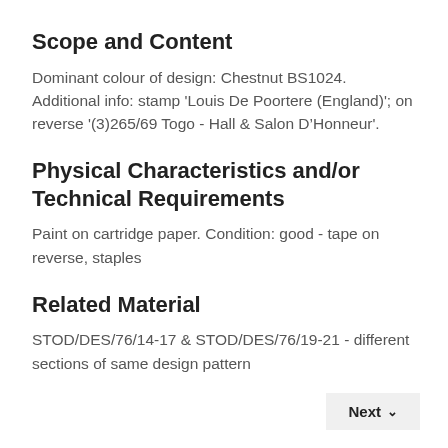Scope and Content
Dominant colour of design: Chestnut BS1024. Additional info: stamp 'Louis De Poortere (England)'; on reverse '(3)265/69 Togo - Hall & Salon D’Honneur'.
Physical Characteristics and/or Technical Requirements
Paint on cartridge paper. Condition: good - tape on reverse, staples
Related Material
STOD/DES/76/14-17 & STOD/DES/76/19-21 - different sections of same design pattern